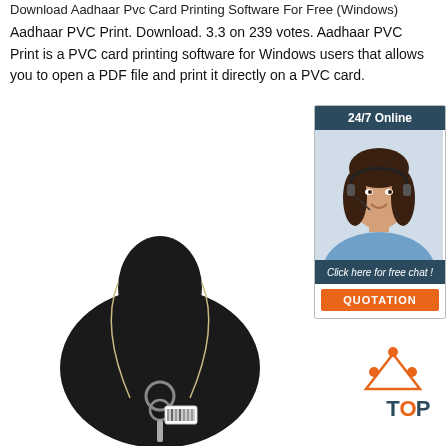Download Aadhaar Pvc Card Printing Software For Free (Windows)
Aadhaar PVC Print. Download. 3.3 on 239 votes. Aadhaar PVC Print is a PVC card printing software for Windows users that allows you to open a PDF file and print it directly on a PVC card.
[Figure (other): Orange 'Get Price' button]
[Figure (other): 24/7 Online chat sidebar with woman wearing headset, 'Click here for free chat!' text and orange QUOTATION button]
[Figure (photo): Black mannequin bust display with a decorative necklace featuring a key-shaped pendant with price tag]
[Figure (other): Orange and blue TOP button with dot triangle icon above]